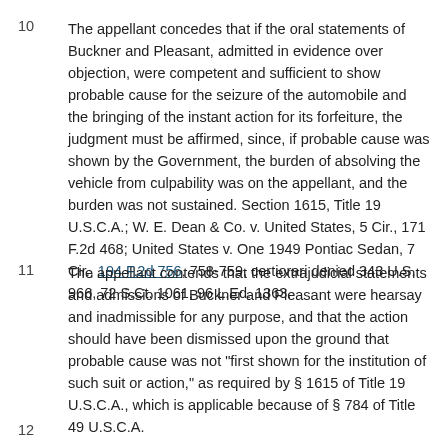10
The appellant concedes that if the oral statements of Buckner and Pleasant, admitted in evidence over objection, were competent and sufficient to show probable cause for the seizure of the automobile and the bringing of the instant action for its forfeiture, the judgment must be affirmed, since, if probable cause was shown by the Government, the burden of absolving the vehicle from culpability was on the appellant, and the burden was not sustained. Section 1615, Title 19 U.S.C.A.; W. E. Dean & Co. v. United States, 5 Cir., 171 F.2d 468; United States v. One 1949 Pontiac Sedan, 7 Cir., 194 F.2d 756, 758-759, certiorari denied 343 U.S. 966, 72 S.Ct. 1061, 96 L.Ed. 1363.
11
The appellant contends that the extrajudicial statements and admissions of Buckner and Pleasant were hearsay and inadmissible for any purpose, and that the action should have been dismissed upon the ground that probable cause was not "first shown for the institution of such suit or action," as required by § 1615 of Title 19 U.S.C.A., which is applicable because of § 784 of Title 49 U.S.C.A.
12